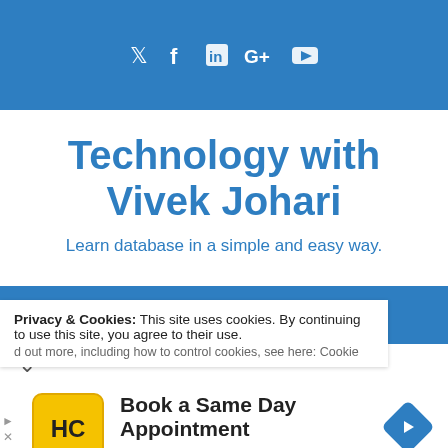Social media icons: Twitter, Facebook, LinkedIn, Google+, YouTube
Technology with Vivek Johari
Learn database in a simple and easy way.
Privacy & Cookies: This site uses cookies. By continuing to use this site, you agree to their use. Find out more, including how to control cookies, see here: Cookie
Book a Same Day Appointment
Hair Cuttery